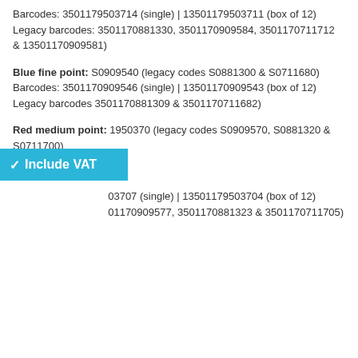Barcodes: 3501179503714 (single) | 13501179503711 (box of 12) Legacy barcodes: 3501170881330, 3501170909584, 3501170711712 & 13501170909581)
Blue fine point: S0909540 (legacy codes S0881300 & S0711680) Barcodes: 3501170909546 (single) | 13501170909543 (box of 12) Legacy barcodes 3501170881309 & 3501170711682)
Red medium point: 1950370 (legacy codes S0909570, S0881320 & S0711700)
[Figure (other): Blue button/bar overlay reading: checkmark Include VAT]
03707 (single) | 13501179503704 (box of 12) 01170909577, 3501170881323 & 3501170711705)